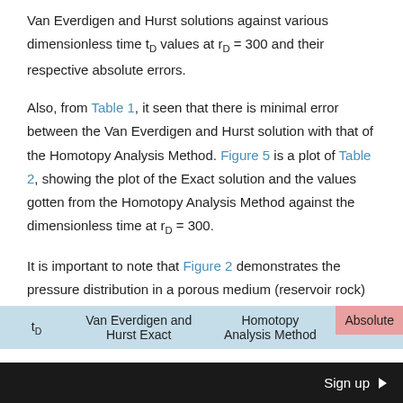Van Everdigen and Hurst solutions against various dimensionless time t_D values at r_D = 300 and their respective absolute errors.
Also, from Table 1, it seen that there is minimal error between the Van Everdigen and Hurst solution with that of the Homotopy Analysis Method. Figure 5 is a plot of Table 2, showing the plot of the Exact solution and the values gotten from the Homotopy Analysis Method against the dimensionless time at r_D = 300.
It is important to note that Figure 2 demonstrates the pressure distribution in a porous medium (reservoir rock) with coefficient of square of pressure gradient assumed negligible, from this figure, the efficiency and robustness
| t_D | Van Everdigen and Hurst Exact | Homotopy Analysis Method | Absolute |
| --- | --- | --- | --- |